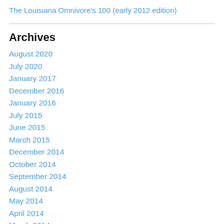The Louisiana Omnivore's 100 (early 2012 edition)
Archives
August 2020
July 2020
January 2017
December 2016
January 2016
July 2015
June 2015
March 2015
December 2014
October 2014
September 2014
August 2014
May 2014
April 2014
March 2014